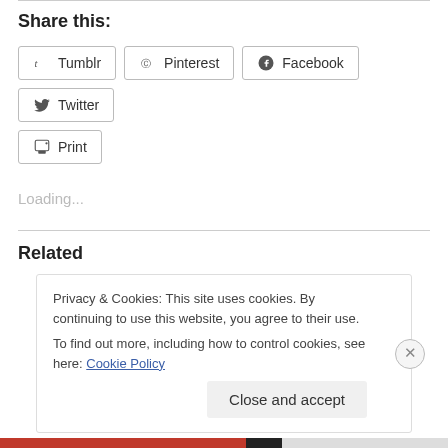Share this:
Tumblr
Pinterest
Facebook
Twitter
Print
Loading...
Related
Privacy & Cookies: This site uses cookies. By continuing to use this website, you agree to their use.
To find out more, including how to control cookies, see here: Cookie Policy
Close and accept